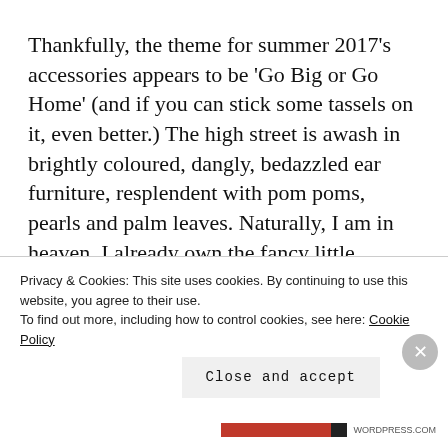Thankfully, the theme for summer 2017's accessories appears to be 'Go Big or Go Home' (and if you can stick some tassels on it, even better.) The high street is awash in brightly coloured, dangly, bedazzled ear furniture, resplendent with pom poms, pearls and palm leaves. Naturally, I am in heaven. I already own the fancy little numbers from Zara and Skinny Dip and intend to buy the rest just as soon, although
Privacy & Cookies: This site uses cookies. By continuing to use this website, you agree to their use.
To find out more, including how to control cookies, see here: Cookie Policy
Close and accept